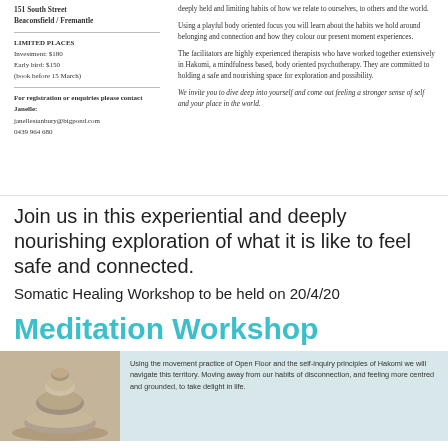151 South Street
Beaconsfield / Fremantle
LIMITED PLACES
Investment: $180
Early bird: $150
(book before 15 March)
For registration or enquiries please contact Janelle:
janellestanbury@bigpond.com
0439 964 680
deeply held and limiting habits of how we relate to ourselves, to others and the world.

Using a playful body oriented focus you will learn about the habits we hold around belonging and connection and how they colour our present moment experiences.

The facilitators are highly experienced therapists who have worked together extensively in Hakomi, a mindfulness based, body oriented psychotherapy. They are committed to holding a safe and nourishing space for exploration and possibility.

We invite you to dive deep into yourself and come out feeling a stronger sense of self and your place in the world.
Join us in this experiential and deeply nourishing exploration of what it is like to feel safe and connected.
Somatic Healing Workshop to be held on 20/4/20
Meditation Workshop
[Figure (photo): Stacked stones meditation photo]
Using the movement practice of Open Floor and the self-inquiry principles of Hakomi we will navigate this territory. Moving away from our habits of disconnection, and feeling more centred and grounded, to take delight in life.